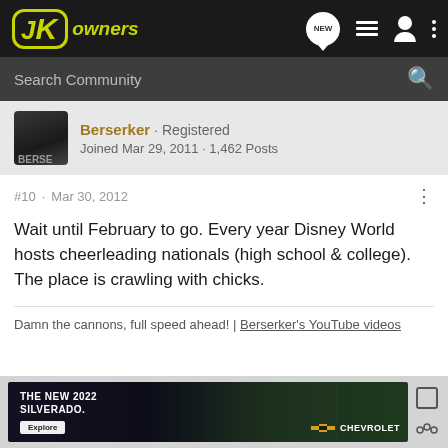JKOwners - Search Community
Berserker · Registered
Joined Mar 29, 2011 · 1,462 Posts
#10 · Mar 30, 2012
Wait until February to go. Every year Disney World hosts cheerleading nationals (high school & college). The place is crawling with chicks.
Damn the cannons, full speed ahead! | Berserker's YouTube videos
[Figure (screenshot): Advertisement for The New 2022 Silverado by Chevrolet, showing a truck in a green outdoor setting with Explore button]